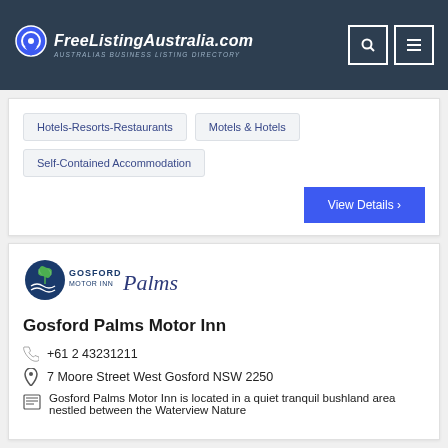FreeListingAustralia.com — AUSTRALIAS BUSINESS LISTING DIRECTORY
Hotels-Resorts-Restaurants
Motels & Hotels
Self-Contained Accommodation
View Details ›
[Figure (logo): Gosford Motor Inn Palms logo with palm tree icon and wave lines]
Gosford Palms Motor Inn
+61 2 43231211
7 Moore Street West Gosford NSW 2250
Gosford Palms Motor Inn is located in a quiet tranquil bushland area nestled between the Waterview Nature